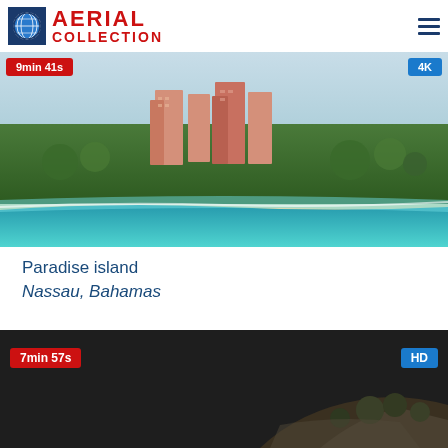AERIAL COLLECTION
[Figure (photo): Aerial view of Paradise Island, Nassau, Bahamas showing large pink resort hotel complex, lush tropical vegetation, white sandy beaches, and turquoise ocean waters. Badge top-left: '9min 41s', badge top-right: '4K']
Paradise island
Nassau, Bahamas
[Figure (photo): Aerial view of dark landscape with trees/vegetation visible in lower right, mostly dark tones suggesting evening or shaded terrain. Badge top-left: '7min 57s', badge top-right: 'HD']